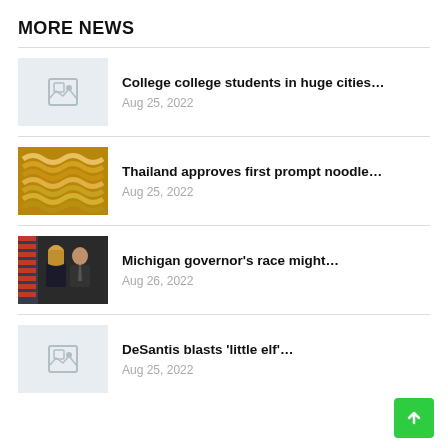MORE NEWS
College college students in huge cities… Aug 25, 2022
Thailand approves first prompt noodle… Aug 25, 2022
Michigan governor's race might… Aug 26, 2022
DeSantis blasts 'little elf'… Aug 25, 2022